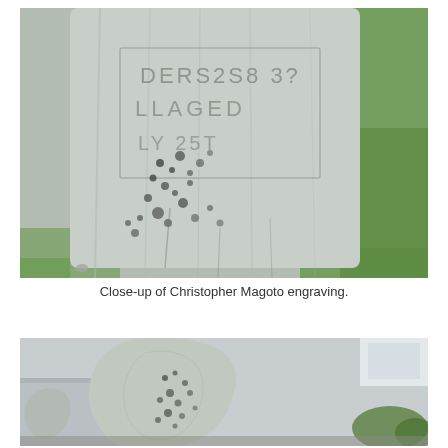[Figure (photo): Close-up photograph of a weathered gray gravestone with worn engraving, partially legible text, set against a green grass background.]
Close-up of Christopher Magoto engraving.
[Figure (photo): Photograph of a weathered gray gravestone showing a shaped monument top with worn surface and black mottling, with a building and shrubs visible in the background.]